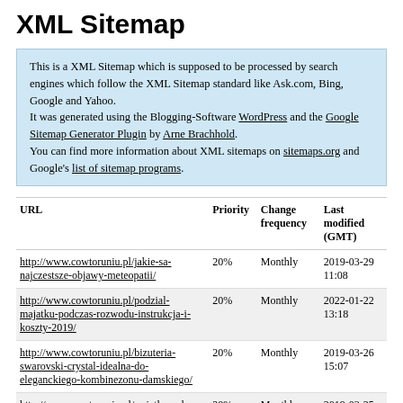XML Sitemap
This is a XML Sitemap which is supposed to be processed by search engines which follow the XML Sitemap standard like Ask.com, Bing, Google and Yahoo.
It was generated using the Blogging-Software WordPress and the Google Sitemap Generator Plugin by Arne Brachhold.
You can find more information about XML sitemaps on sitemaps.org and Google's list of sitemap programs.
| URL | Priority | Change frequency | Last modified (GMT) |
| --- | --- | --- | --- |
| http://www.cowtoruniu.pl/jakie-sa-najczestsze-objawy-meteopatii/ | 20% | Monthly | 2019-03-29 11:08 |
| http://www.cowtoruniu.pl/podzial-majatku-podczas-rozwodu-instrukcja-i-koszty-2019/ | 20% | Monthly | 2022-01-22 13:18 |
| http://www.cowtoruniu.pl/bizuteria-swarovski-crystal-idealna-do-eleganckiego-kombinezonu-damskiego/ | 20% | Monthly | 2019-03-26 15:07 |
| http://www.cowtoruniu.pl/swiatlowod-internet-na-miare-xxi-wieku/ | 20% | Monthly | 2019-03-25 11:27 |
| http://www.cowtoruniu.pl/... | 20% | Monthly | 2019-03-25 |